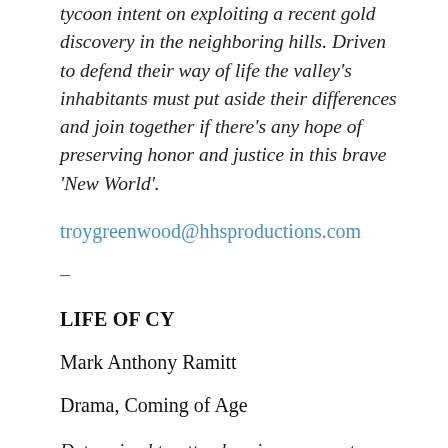tycoon intent on exploiting a recent gold discovery in the neighboring hills. Driven to defend their way of life the valley's inhabitants must put aside their differences and join together if there's any hope of preserving honor and justice in this brave 'New World'.
troygreenwood@hhsproductions.com
–
LIFE OF CY
Mark Anthony Ramitt
Drama, Coming of Age
Determined to attend senior prom, a teen born with